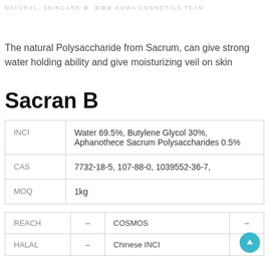NATURAL, SKINCARE ⊡ ⊡⊡⊡ KOWA COSMETICS TEAM
The natural Polysaccharide from Sacrum, can give strong water holding ability and give moisturizing veil on skin
Sacran B
|  |  |
| --- | --- |
| INCI | Water 69.5%, Butylene Glycol 30%, Aphanothece Sacrum Polysaccharides 0.5% |
| CAS | 7732-18-5, 107-88-0, 1039552-36-7, |
| MOQ | 1kg |
|  |  |  |  |
| --- | --- | --- | --- |
| REACH | – | COSMOS | – |
| HALAL | – | Chinese INCI |  |